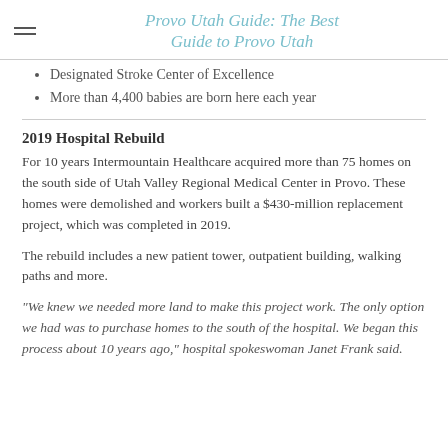Provo Utah Guide: The Best Guide to Provo Utah
Designated Stroke Center of Excellence
More than 4,400 babies are born here each year
2019 Hospital Rebuild
For 10 years Intermountain Healthcare acquired more than 75 homes on the south side of Utah Valley Regional Medical Center in Provo. These homes were demolished and workers built a $430-million replacement project, which was completed in 2019.
The rebuild includes a new patient tower, outpatient building, walking paths and more.
“We knew we needed more land to make this project work. The only option we had was to purchase homes to the south of the hospital. We began this process about 10 years ago,” hospital spokeswoman Janet Frank said.